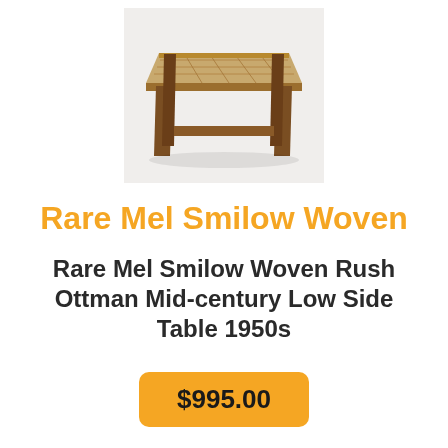[Figure (photo): A mid-century low wooden stool/ottoman with woven rush seat top, dark walnut legs, photographed against a light grey background.]
Rare Mel Smilow Woven
Rare Mel Smilow Woven Rush Ottman Mid-century Low Side Table 1950s
$995.00